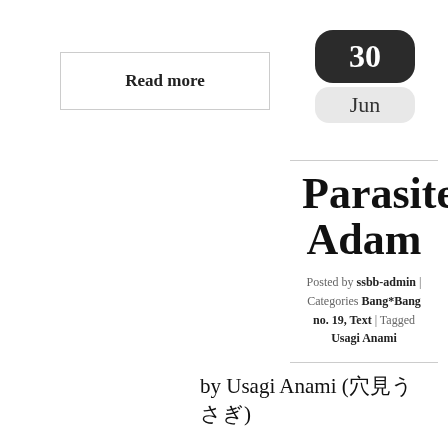Read more
30
Jun
Parasite Adam
Posted by ssbb-admin | Categories Bang*Bang no. 19, Text | Tagged Usagi Anami
by Usagi Anami (穴見うさぎ)